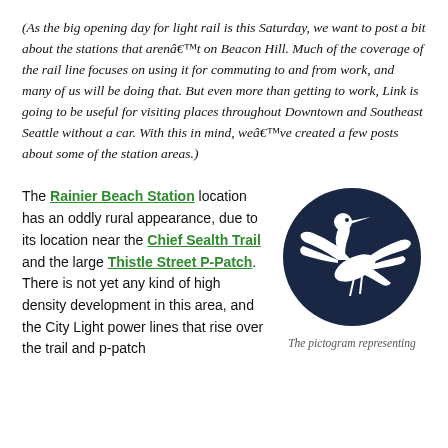(As the big opening day for light rail is this Saturday, we want to post a bit about the stations that arenâ€™t on Beacon Hill. Much of the coverage of the rail line focuses on using it for commuting to and from work, and many of us will be doing that. But even more than getting to work, Link is going to be useful for visiting places throughout Downtown and Southeast Seattle without a car. With this in mind, weâ€™ve created a few posts about some of the station areas.)
The Rainier Beach Station location has an oddly rural appearance, due to its location near the Chief Sealth Trail and the large Thistle Street P-Patch. There is not yet any kind of high density development in this area, and the City Light power lines that rise over the trail and p-patch
[Figure (illustration): A dark navy blue circle containing a white pictogram of a heron (bird) in flight, wings spread, facing right.]
The pictogram representing